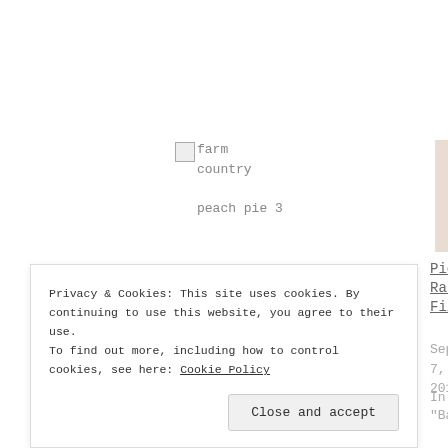[Figure (photo): Broken image placeholder with alt text 'farm country peach pie 3']
Farm Country Peach Pie
August 23, 2012
In "Baking"
[Figure (photo): Photo of a slice of red raspberry pie on a white plate]
Pie Crazy–Red Raspberry Pie Filling
September 7, 2012
In "Baking"
[Figure (photo): Partial image of a pink dessert in a white dish]
Privacy & Cookies: This site uses cookies. By continuing to use this website, you agree to their use.
To find out more, including how to control cookies, see here: Cookie Policy
Close and accept